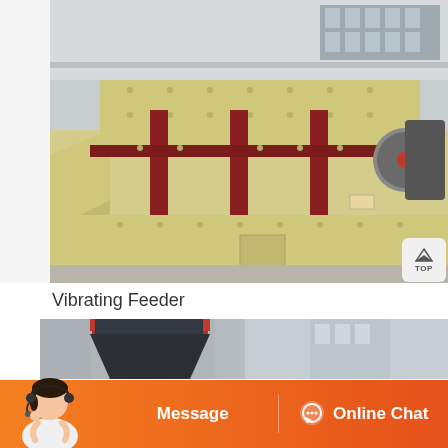[Figure (photo): Industrial vibrating feeder machine with cream/yellow painted heavy steel structure, mounted on dark red steel frame supports, photographed outdoors in a factory yard.]
Vibrating Feeder
[Figure (photo): Dark gray industrial feeding hopper/funnel equipment with red rim on top, photographed in a factory setting.]
[Figure (photo): Customer service representative with headset, bottom-left overlay on the orange bar.]